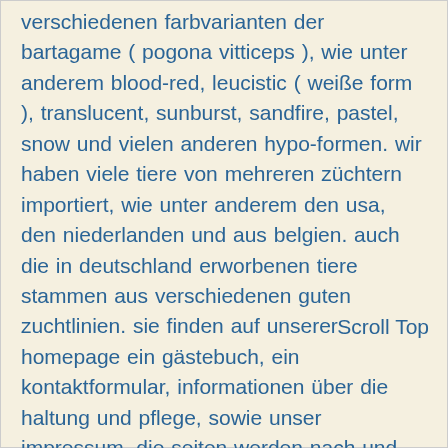verschiedenen farbvarianten der bartagame ( pogona vitticeps ), wie unter anderem blood-red, leucistic ( weiße form ), translucent, sunburst, sandfire, pastel, snow und vielen anderen hypo-formen. wir haben viele tiere von mehreren züchtern importiert, wie unter anderem den usa, den niederlanden und aus belgien. auch die in deutschland erworbenen tiere stammen aus verschiedenen guten zuchtlinien. sie finden auf unserer homepage ein gästebuch, ein kontaktformular, informationen über die haltung und pflege, sowie unser impressum. die seiten werden nach und nach um kategorien und auch inhaltlich erweitert. sie können dann noch mehr über futtertiere, deren haltung und verfütterung, sowie die haltung unserer t erfahren. in vielen ausführlichen bildern, photoshow bekommt man einen einblick in die verschiedenen farbformen der bartagame, wie unter anderem weiße tiere ( snow, leucistic / leucistisch, hypomelanistic / hypomelanistisch ), gelbe ( sunburst, citrus ), orange ( ogg, orange german giant ), rote (
Scroll Top